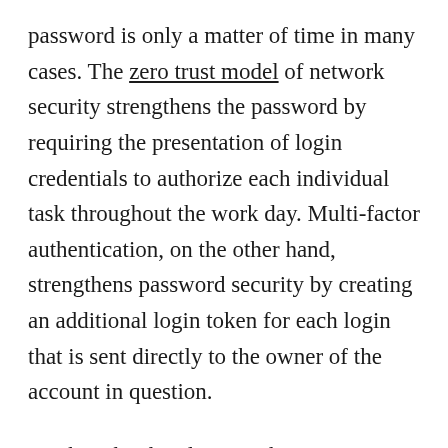password is only a matter of time in many cases. The zero trust model of network security strengthens the password by requiring the presentation of login credentials to authorize each individual task throughout the work day. Multi-factor authentication, on the other hand, strengthens password security by creating an additional login token for each login that is sent directly to the owner of the account in question.
On the other hand, network monitoring is essential for anticipating cyber attacks in advance by observing strange behavior that may indicate an infiltration attempt in progress.